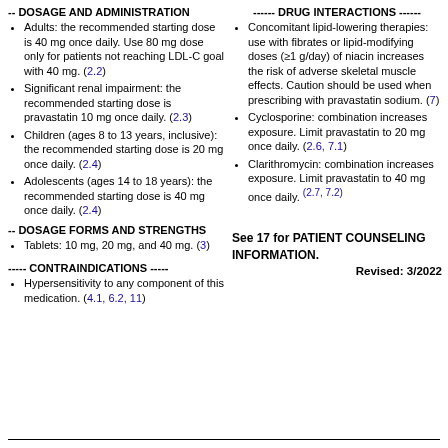-- DOSAGE AND ADMINISTRATION
Adults: the recommended starting dose is 40 mg once daily. Use 80 mg dose only for patients not reaching LDL-C goal with 40 mg. (2.2)
Significant renal impairment: the recommended starting dose is pravastatin 10 mg once daily. (2.3)
Children (ages 8 to 13 years, inclusive): the recommended starting dose is 20 mg once daily. (2.4)
Adolescents (ages 14 to 18 years): the recommended starting dose is 40 mg once daily. (2.4)
------ DRUG INTERACTIONS ------
Concomitant lipid-lowering therapies: use with fibrates or lipid-modifying doses (≥1 g/day) of niacin increases the risk of adverse skeletal muscle effects. Caution should be used when prescribing with pravastatin sodium. (7)
Cyclosporine: combination increases exposure. Limit pravastatin to 20 mg once daily. (2.6, 7.1)
Clarithromycin: combination increases exposure. Limit pravastatin to 40 mg once daily. (2.7, 7.2)
-- DOSAGE FORMS AND STRENGTHS
Tablets: 10 mg, 20 mg, and 40 mg. (3)
See 17 for PATIENT COUNSELING INFORMATION. Revised: 3/2022
----- CONTRAINDICATIONS -----
Hypersensitivity to any component of this medication. (4.1, 6.2, 11)